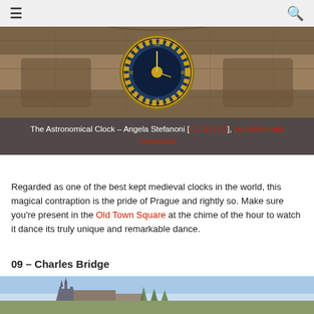☰  🔍
[Figure (photo): Close-up photograph of the Prague Astronomical Clock mounted on a stone building facade, showing the ornate gold and dark astronomical dial face with zodiac symbols and Roman numerals]
The Astronomical Clock – Angela Stefanoni [CC BY 3.0], via Wikimedia Commons
Regarded as one of the best kept medieval clocks in the world, this magical contraption is the pride of Prague and rightly so. Make sure you're present in the Old Town Square at the chime of the hour to watch it dance its truly unique and remarkable dance.
09 – Charles Bridge
[Figure (photo): Wide panoramic photograph of Charles Bridge in Prague with Prague Castle and St. Vitus Cathedral visible on the hill in the background, blue sky above]